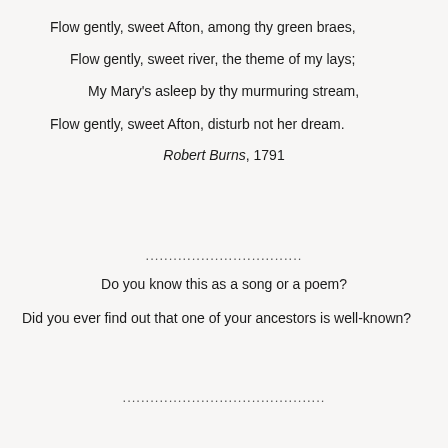Flow gently, sweet Afton, among thy green braes,
Flow gently, sweet river, the theme of my lays;
My Mary's asleep by thy murmuring stream,
Flow gently, sweet Afton, disturb not her dream.
Robert Burns, 1791
..................................
Do you know this as a song or a poem?
Did you ever find out that one of your ancestors is well-known?
............................................